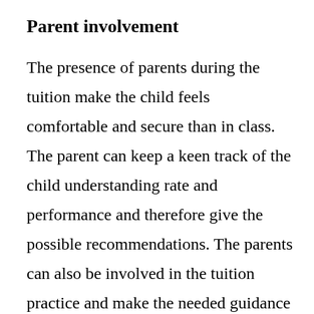Parent involvement
The presence of parents during the tuition make the child feels comfortable and secure than in class. The parent can keep a keen track of the child understanding rate and performance and therefore give the possible recommendations. The parents can also be involved in the tuition practice and make the needed guidance that a third party would hesitate to. The